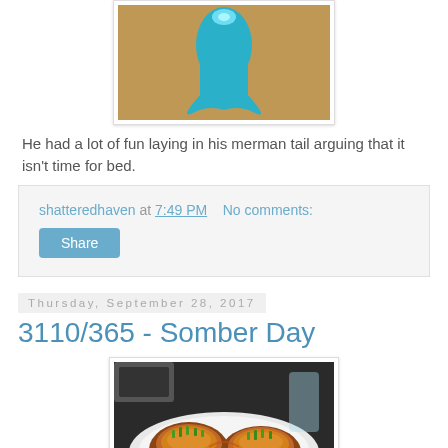[Figure (photo): Photo of a teal/turquoise merman tail costume laid on a surface]
He had a lot of fun laying in his merman tail arguing that it isn't time for bed.
shatteredhaven at 7:49 PM   No comments:
Share
Thursday, September 28, 2017
3110/365 - Somber Day
[Figure (photo): Photo of food — baked potato skins topped with cheese, bacon, and green onions on a white plate at a restaurant]